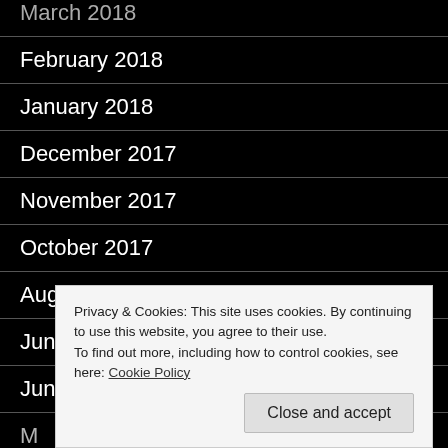February 2018
January 2018
December 2017
November 2017
October 2017
August 2017
June 2017
June 2016
Privacy & Cookies: This site uses cookies. By continuing to use this website, you agree to their use. To find out more, including how to control cookies, see here: Cookie Policy
Close and accept